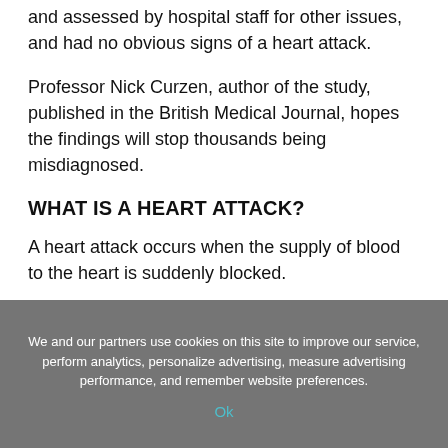and assessed by hospital staff for other issues, and had no obvious signs of a heart attack.
Professor Nick Curzen, author of the study, published in the British Medical Journal, hopes the findings will stop thousands being misdiagnosed.
WHAT IS A HEART ATTACK?
A heart attack occurs when the supply of blood to the heart is suddenly blocked.
We and our partners use cookies on this site to improve our service, perform analytics, personalize advertising, measure advertising performance, and remember website preferences.
Ok